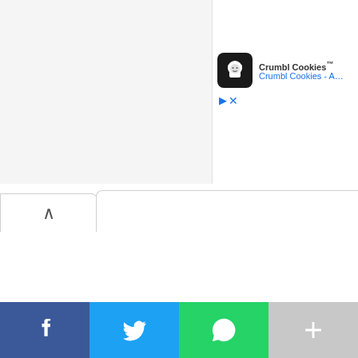[Figure (screenshot): Crumbl Cookies advertisement with logo icon, brand name 'Crumbl Cookies™' in bold, subtitle 'Crumbl Cookies - A...' in blue, with a play/ad indicator triangle and close X button below.]
[Figure (screenshot): Scroll-up tab button with chevron caret (^) icon on white rounded tab, below a light gray top section.]
[Figure (screenshot): Social sharing bar at bottom with four buttons: Facebook (dark blue, f icon), Twitter (light blue, bird icon), WhatsApp (green, phone icon), More (gray, plus icon).]